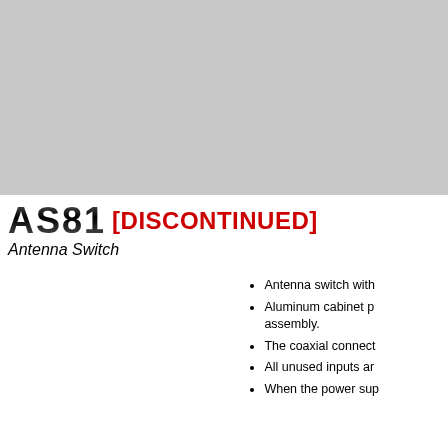[Figure (photo): Gray placeholder image area representing a product photo of the AS81 Antenna Switch]
AS81 [DISCONTINUED]
Antenna Switch
Antenna switch with
Aluminum cabinet p assembly.
The coaxial connect
All unused inputs ar
When the power sup